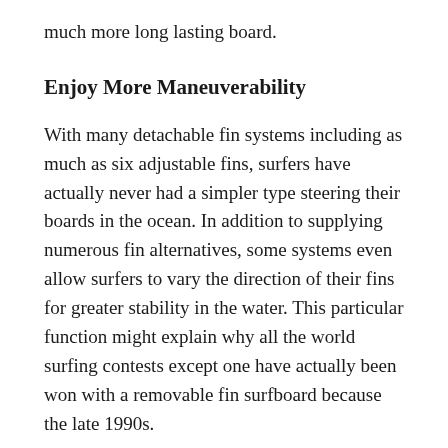much more long lasting board.
Enjoy More Maneuverability
With many detachable fin systems including as much as six adjustable fins, surfers have actually never had a simpler type steering their boards in the ocean. In addition to supplying numerous fin alternatives, some systems even allow surfers to vary the direction of their fins for greater stability in the water. This particular function might explain why all the world surfing contests except one have actually been won with a removable fin surfboard because the late 1990s.